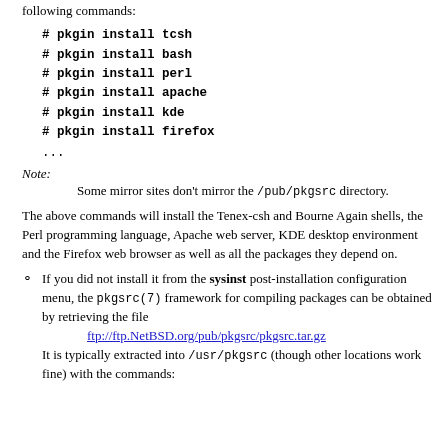following commands:
# pkgin install tcsh
# pkgin install bash
# pkgin install perl
# pkgin install apache
# pkgin install kde
# pkgin install firefox
...
Note: Some mirror sites don't mirror the /pub/pkgsrc directory.
The above commands will install the Tenex-csh and Bourne Again shells, the Perl programming language, Apache web server, KDE desktop environment and the Firefox web browser as well as all the packages they depend on.
If you did not install it from the sysinst post-installation configuration menu, the pkgsrc(7) framework for compiling packages can be obtained by retrieving the file ftp://ftp.NetBSD.org/pub/pkgsrc/pkgsrc.tar.gz It is typically extracted into /usr/pkgsrc (though other locations work fine) with the commands: